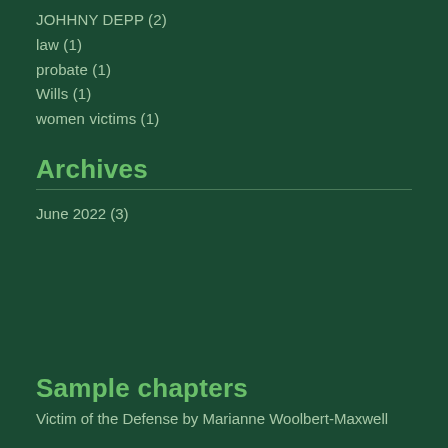JOHHNY DEPP (2)
law (1)
probate (1)
Wills (1)
women victims (1)
Archives
June 2022 (3)
Sample chapters
Victim of the Defense by Marianne Woolbert-Maxwell